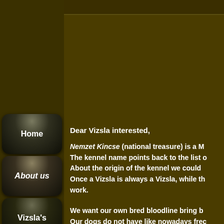[Figure (screenshot): Top navigation bar at top of webpage]
Home
About us
Vizsla's
News
Dear Vizsla interested,
Nemzet Kincse (national treasure) is a M... The kennel name points back to the list o... About the origin of the kennel we could ... Once a Vizsla is always a Vizsla, while th... work.
We want our own bred bloodline bring b... Our dogs do not have like nowadays frec...